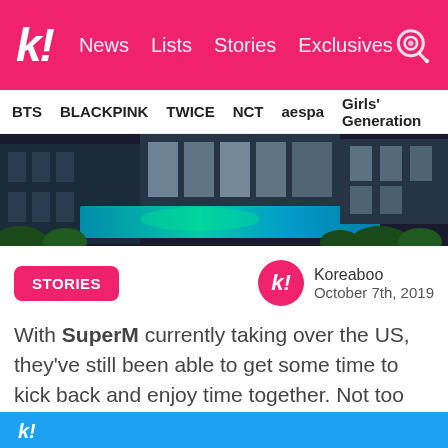k! News Lists Stories Exclusives
BTS BLACKPINK TWICE NCT aespa Girls' Generation
[Figure (photo): Night-time exterior photo of a luxury villa with illuminated swimming pool surrounded by greenery.]
STORIES
Koreaboo
October 7th, 2019
With SuperM currently taking over the US, they've still been able to get some time to kick back and enjoy time together. Not too long ago they blessed everyone with a smoking hot group photo of themselves enjoying some time by the pool…